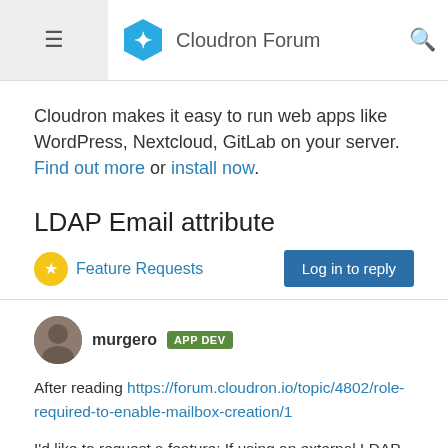Cloudron Forum
Cloudron makes it easy to run web apps like WordPress, Nextcloud, GitLab on your server. Find out more or install now.
LDAP Email attribute
Feature Requests   Log in to reply
murgero APP DEV
After reading https://forum.cloudron.io/topic/4802/role-required-to-enable-mailbox-creation/1
I'd like to request a feature: If using an external LDAP connection, I'd like cloudron to, if enabled, make mailbox's during importing of LDAP users if the user has an email specified in their LDAP attributes.